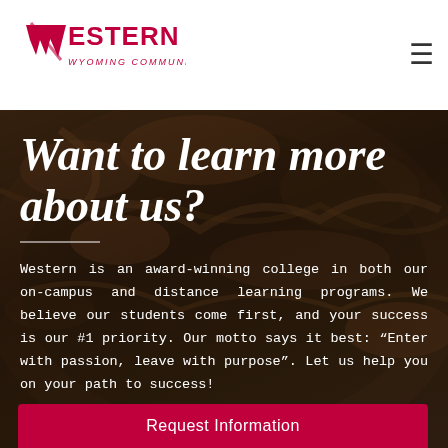[Figure (logo): Western Wyoming Community College logo in red with stylized W]
Western Wyoming Community College — navigation header with hamburger menu
[Figure (photo): Background photo of skeletal/fossil displays in a museum-like setting, dark brownish tones]
Want to learn more about us?
Western is an award-winning college in both our on-campus and distance learning programs. We believe our students come first, and your success is our #1 priority. Our motto says it best: “Enter with passion, leave with purpose”. Let us help you on your path to success!
Request Information